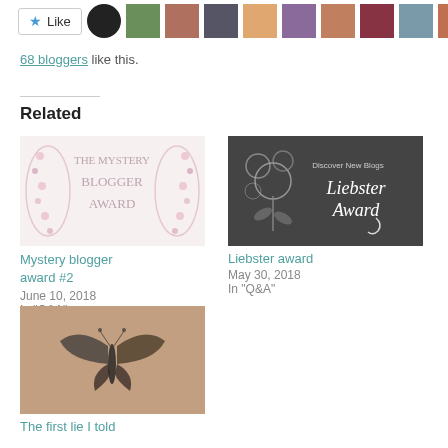[Figure (other): Like button with star icon and a row of blogger avatar thumbnails]
68 bloggers like this.
Related
[Figure (illustration): The Mystery Blogger Award badge with pink floral wreath and text]
Mystery blogger award #2
June 10, 2018
In "Q&A"
[Figure (illustration): Liebster Award badge - dark background with white floral design and Discover New Blogs text]
Liebster award
May 30, 2018
In "Q&A"
[Figure (photo): Photo of a butterfly or moth on a surface with warm tones]
The first lie I told